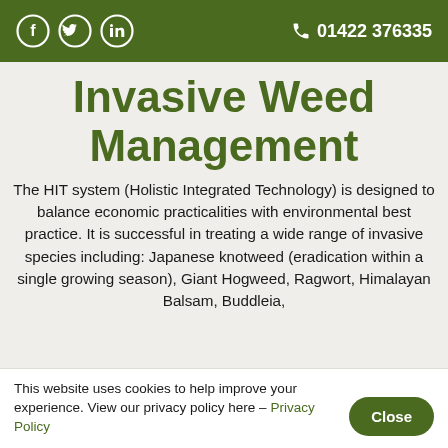Social icons (Facebook, Twitter, LinkedIn) | 01422 376335
Invasive Weed Management
The HIT system (Holistic Integrated Technology) is designed to balance economic practicalities with environmental best practice. It is successful in treating a wide range of invasive species including: Japanese knotweed (eradication within a single growing season), Giant Hogweed, Ragwort, Himalayan Balsam, Buddleia,
This website uses cookies to help improve your experience. View our privacy policy here – Privacy Policy